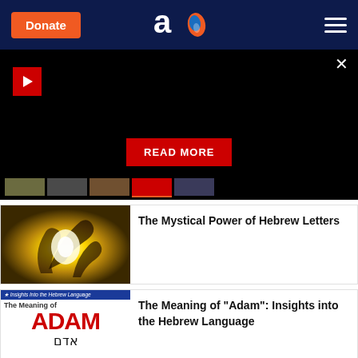Donate | Aish.com logo | Menu
[Figure (screenshot): Black video banner with play button, READ MORE button, and filmstrip thumbnails at the bottom]
[Figure (photo): Mystical golden light with abstract Hebrew letter shapes]
The Mystical Power of Hebrew Letters
[Figure (photo): Thumbnail for The Meaning of Adam article showing red ADAM text and Hebrew characters]
The Meaning of "Adam": Insights into the Hebrew Language